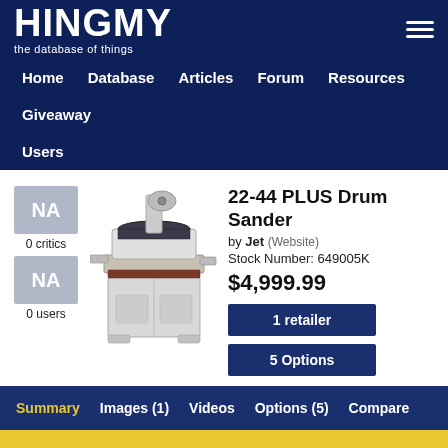HINGMY the database of things
Home | Database | Articles | Forum | Resources | Giveaway | Users
22-44 PLUS Drum Sander
by Jet (Website)
Stock Number: 649005K
$4,999.99
1 retailer
5 Options
NA 0 critics
NA 0 users
[Figure (photo): Photo of the 22-44 PLUS Drum Sander by Jet, a large floor-standing drum sanding machine with white cabinet base and dark drum head.]
Summary | Images (1) | Videos | Options (5) | Compare
We use cookies to personalize content and ads, and to analyze our traffic. We also share information about your use of our site with partners. Privacy Terms  Accept Cookies